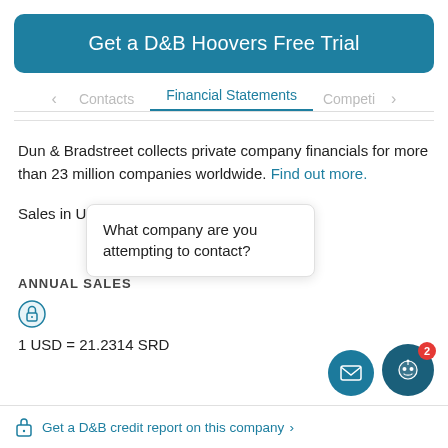Get a D&B Hoovers Free Trial
Financial Statements
Dun & Bradstreet collects private company financials for more than 23 million companies worldwide. Find out more.
Sales in USD
What company are you attempting to contact?
ANNUAL SALES
[Figure (illustration): Lock icon indicating locked/restricted content]
1 USD = 21.2314 SRD
[Figure (illustration): Email button and chatbot button with notification badge showing 2]
Get a D&B credit report on this company >